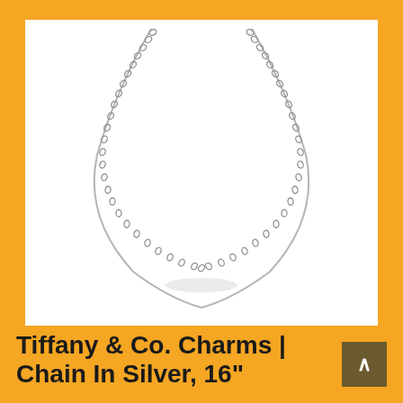[Figure (photo): A fine silver cable chain necklace photographed on a white background, draped in a U-shape showing the full length of the 16-inch chain with small oval links visible throughout.]
Tiffany & Co. Charms | Chain In Silver, 16"